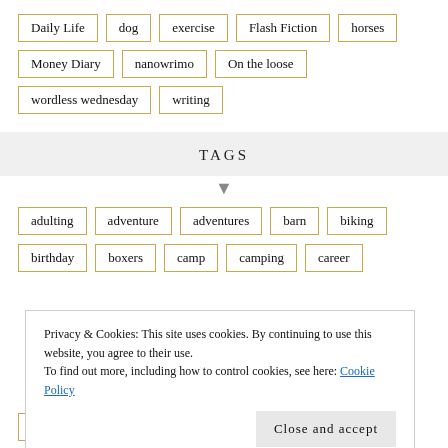Daily Life
dog
exercise
Flash Fiction
horses
Money Diary
nanowrimo
On the loose
wordless wednesday
writing
TAGS
adulting
adventure
adventures
barn
biking
birthday
boxers
camp
camping
career
Privacy & Cookies: This site uses cookies. By continuing to use this website, you agree to their use. To find out more, including how to control cookies, see here: Cookie Policy
hard topics
hauling
help
hike
hiking